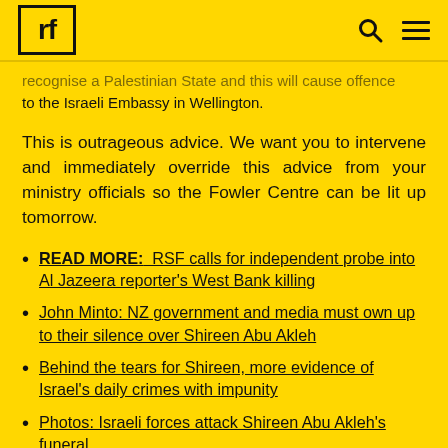rf [logo] [search icon] [menu icon]
recognise a Palestinian State and this will cause offence to the Israeli Embassy in Wellington.
This is outrageous advice. We want you to intervene and immediately override this advice from your ministry officials so the Fowler Centre can be lit up tomorrow.
READ MORE:  RSF calls for independent probe into Al Jazeera reporter's West Bank killing
John Minto: NZ government and media must own up to their silence over Shireen Abu Akleh
Behind the tears for Shireen, more evidence of Israel's daily crimes with impunity
Photos: Israeli forces attack Shireen Abu Akleh's funeral